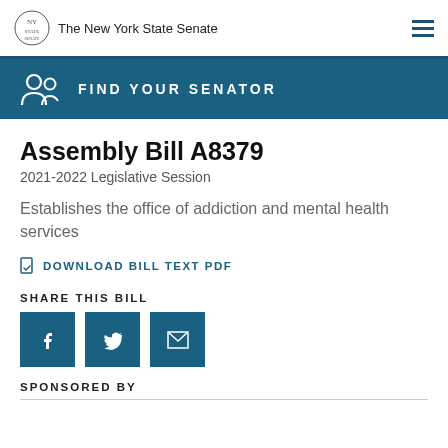The New York State Senate
[Figure (other): Find Your Senator banner with icon]
Assembly Bill A8379
2021-2022 Legislative Session
Establishes the office of addiction and mental health services
DOWNLOAD BILL TEXT PDF
SHARE THIS BILL
[Figure (other): Share buttons: Facebook, Twitter, Email]
SPONSORED BY